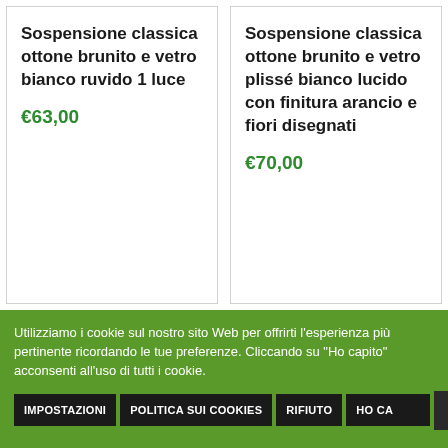Sospensione classica ottone brunito e vetro bianco ruvido 1 luce
€63,00
Sospensione classica ottone brunito e vetro plissé bianco lucido con finitura arancio e fiori disegnati
€70,00
Utilizziamo i cookie sul nostro sito Web per offrirti l'esperienza più pertinente ricordando le tue preferenze. Cliccando su "Ho capito" acconsenti all'uso di tutti i cookie.
IMPOSTAZIONI | POLITICA SUI COOKIES | RIFIUTO | HO CAPITO